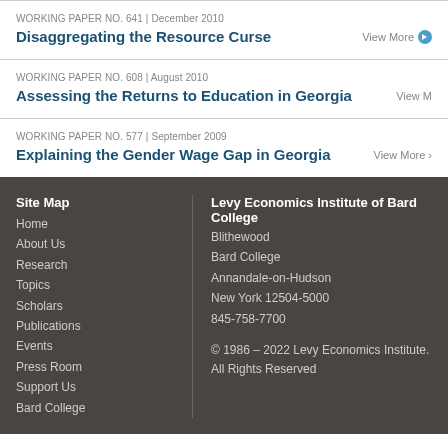WORKING PAPER NO. 641 | December 2010
Disaggregating the Resource Curse
WORKING PAPER NO. 608 | August 2010
Assessing the Returns to Education in Georgia
WORKING PAPER NO. 577 | September 2009
Explaining the Gender Wage Gap in Georgia
Site Map
Home
About Us
Research
Topics
Scholars
Publications
Events
Press Room
Support Us
Bard College

Levy Economics Institute of Bard College
Blithewood
Bard College
Annandale-on-Hudson
New York 12504-5000
845-758-7700

© 1986 – 2022 Levy Economics Institute. All Rights Reserved